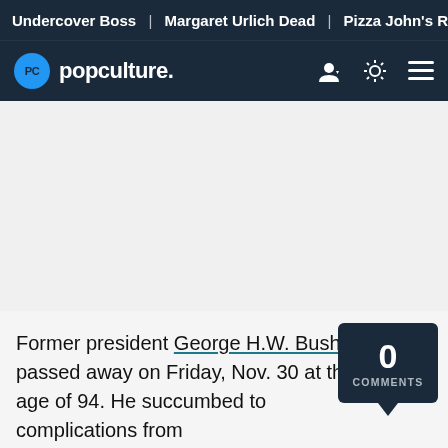Undercover Boss | Margaret Urlich Dead | Pizza John's Recal
[Figure (logo): Popculture.com logo with PC circle icon in blue on dark navy navigation bar]
Former president George H.W. Bush passed away on Friday, Nov. 30 at the age of 94. He succumbed to complications from
0 COMMENTS